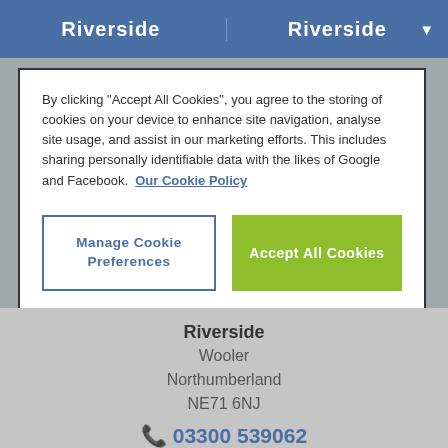Riverside   Riverside
By clicking “Accept All Cookies”, you agree to the storing of cookies on your device to enhance site navigation, analyse site usage, and assist in our marketing efforts. This includes sharing personally identifiable data with the likes of Google and Facebook.  Our Cookie Policy
Manage Cookie Preferences
Accept All Cookies
Riverside
Wooler
Northumberland
NE71 6NJ
03300 539062
Season open:
All year round